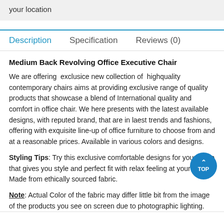your location
Description   Specification   Reviews (0)
Medium Back Revolving Office Executive Chair
We are offering  exclusice new collection of  highquality contemporary chairs aims at providing exclusive range of quality products that showcase a blend of International quality and comfort in office chair. We here presents with the latest available designs, with reputed brand, that are in laest trends and fashions, offering with exquisite line-up of office furniture to choose from and at a reasonable prices. Available in various colors and designs.
Styling Tips: Try this exclusive comfortable designs for your office that gives you style and perfect fit with relax feeling at your work. Made from ethically sourced fabric.
Note: Actual Color of the fabric may differ little bit from the image of the products you see on screen due to photographic lighting.